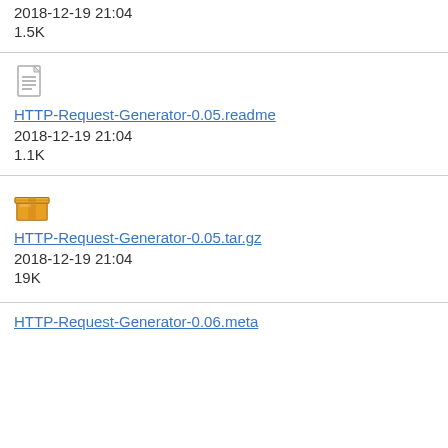2018-12-19 21:04
1.5K
[Figure (other): Text file icon]
HTTP-Request-Generator-0.05.readme
2018-12-19 21:04
1.1K
[Figure (other): Archive/package icon (box)]
HTTP-Request-Generator-0.05.tar.gz
2018-12-19 21:04
19K
HTTP-Request-Generator-0.06.meta